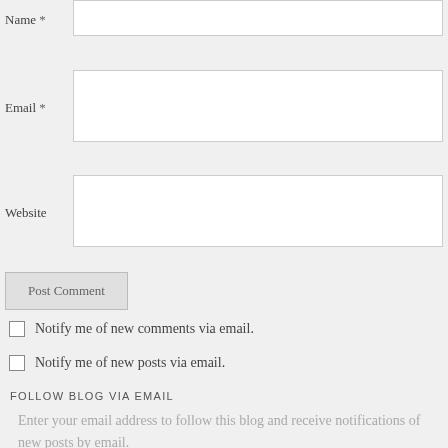Name *
Email *
Website
Post Comment
Notify me of new comments via email.
Notify me of new posts via email.
FOLLOW BLOG VIA EMAIL
Enter your email address to follow this blog and receive notifications of new posts by email.